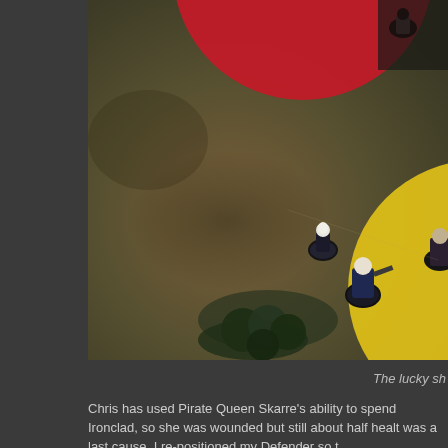[Figure (photo): Overhead photograph of a tabletop miniature wargame in progress. A textured brown-green ground mat is visible. A large red circle (area of effect marker) is in the upper center, and a large yellow circle marker is on the right side. Several miniature figures on round bases are positioned on the board. Dark foliage/trees are visible at the bottom center.]
The lucky sh
Chris has used Pirate Queen Skarre's ability to spend Ironclad, so she was wounded but still about half healt was a last cause. I re-positioned my Defender so t